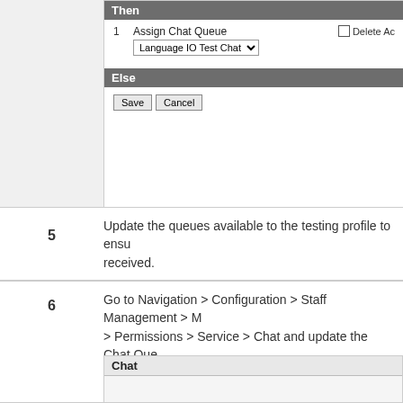[Figure (screenshot): UI panel showing 'Then' bar with Assign Chat Queue action (Language IO Test Chat dropdown), a Delete Action checkbox, an 'Else' bar, and Save/Cancel buttons]
5  Update the queues available to the testing profile to ensure received.
6  Go to Navigation > Configuration > Staff Management > Permissions > Service > Chat and update the Chat Queue the test queue is enabled for that profile.

Notes:
• Record which queue's the profile was previously se
• Selecting Transfer to Other Groups is also advised made earlier and a customer chat comes through w
[Figure (screenshot): Chat panel header]